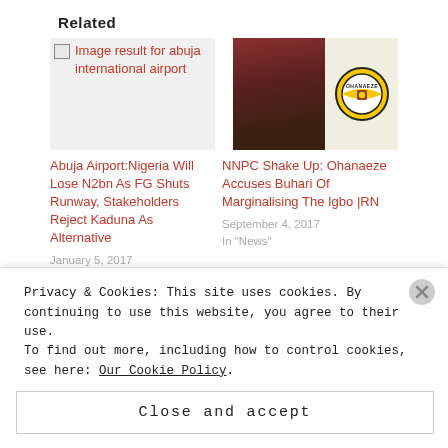Related
[Figure (other): Image placeholder with text 'Image result for abuja international airport']
Abuja Airport:Nigeria Will Lose N2bn As FG Shuts Runway, Stakeholders Reject Kaduna As Alternative
January 5, 2017
In "News"
[Figure (photo): Two photos side by side: a crowd scene on the left and the Ohanaeze logo on the right]
NNPC Shake Up: Ohanaeze Accuses Buhari Of Marginalising The Igbo |RN
September 4, 2017
In "News"
Privacy & Cookies: This site uses cookies. By continuing to use this website, you agree to their use.
To find out more, including how to control cookies, see here: Our Cookie Policy
Close and accept